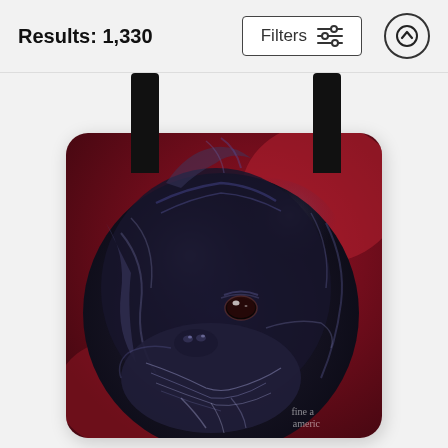Results: 1,330
Filters
[Figure (photo): A tote bag printed with a painted portrait of a black Affenpinscher dog on a dark red background. The bag has black straps. A Fine Art America watermark is visible in the lower-right corner of the bag.]
fine art america